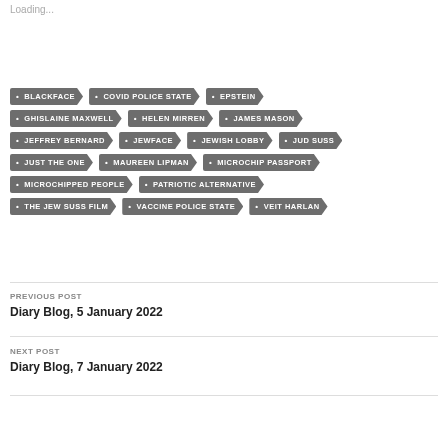Loading...
BLACKFACE
COVID POLICE STATE
EPSTEIN
GHISLAINE MAXWELL
HELEN MIRREN
JAMES MASON
JEFFREY BERNARD
JEWFACE
JEWISH LOBBY
JUD SUSS
JUST THE ONE
MAUREEN LIPMAN
MICROCHIP PASSPORT
MICROCHIPPED PEOPLE
PATRIOTIC ALTERNATIVE
THE JEW SUSS FILM
VACCINE POLICE STATE
VEIT HARLAN
PREVIOUS POST
Diary Blog, 5 January 2022
NEXT POST
Diary Blog, 7 January 2022